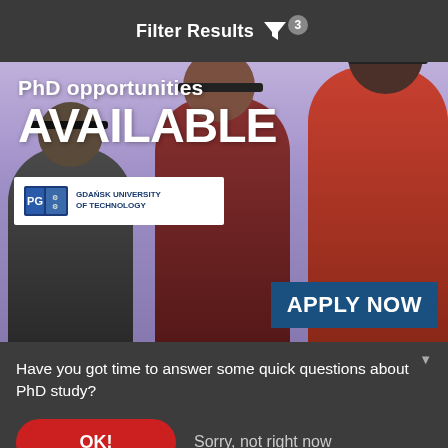Filter Results ▼ 3
[Figure (photo): Banner advertisement for PhD opportunities at Gdańsk University of Technology showing three people wearing VR/AR glasses against a purple sky background. Text reads 'PhD opportunities AVAILABLE' with 'APPLY NOW' button.]
Have you got time to answer some quick questions about PhD study?
OK!
Sorry, not right now
our privacy policy